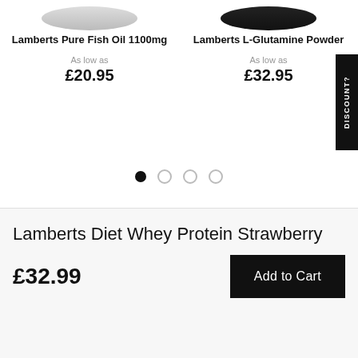[Figure (photo): Product image top portion of Lamberts Pure Fish Oil 1100mg (cropped, only bottom visible)]
Lamberts Pure Fish Oil 1100mg
As low as
£20.95
[Figure (photo): Product image top portion of Lamberts L-Glutamine Powder (cropped, only bottom visible)]
Lamberts L-Glutamine Powder
As low as
£32.95
[Figure (other): Carousel pagination dots — 4 dots, first one filled/active]
DISCOUNT?
Lamberts Diet Whey Protein Strawberry
£32.99
Add to Cart